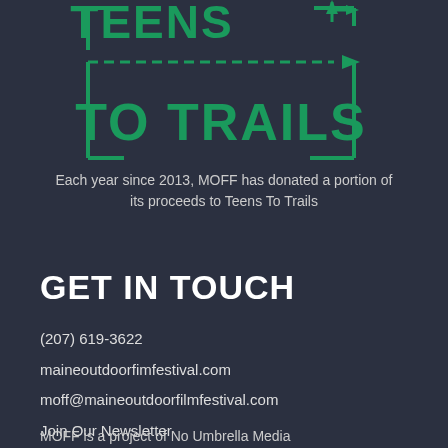[Figure (logo): Teens To Trails logo in green on dark background, with bracket-style border, dashed arrow line, and upward/right arrows]
Each year since 2013, MOFF has donated a portion of its proceeds to Teens To Trails
GET IN TOUCH
(207) 619-3622
maineoutdoorfimfestival.com
moff@maineoutdoorfilmfestival.com
Join Our Newsletter
MOFF is a project of No Umbrella Media